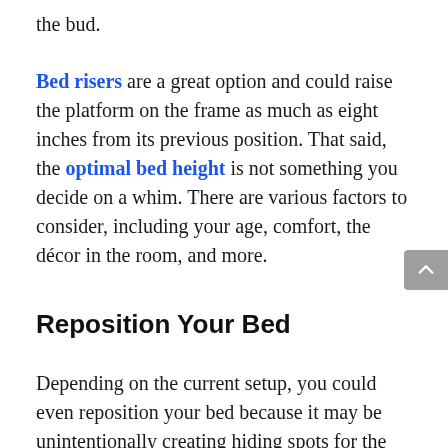the bud.
Bed risers are a great option and could raise the platform on the frame as much as eight inches from its previous position. That said, the optimal bed height is not something you decide on a whim. There are various factors to consider, including your age, comfort, the décor in the room, and more.
Reposition Your Bed
Depending on the current setup, you could even reposition your bed because it may be unintentionally creating hiding spots for the